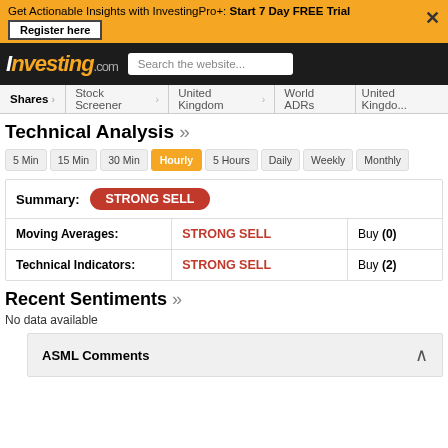Get Actionable Insights with InvestingPro+: Start 7 Day FREE Trial
Investing.com
Shares | Stock Screener | United Kingdom | World ADRs | United Kingdom
Technical Analysis »
5 Min  15 Min  30 Min  Hourly  5 Hours  Daily  Weekly  Monthly
|  | Signal | Detail |
| --- | --- | --- |
| Summary: | STRONG SELL |  |
| Moving Averages: | STRONG SELL | Buy (0) |
| Technical Indicators: | STRONG SELL | Buy (2) |
Recent Sentiments »
No data available
ASML Comments